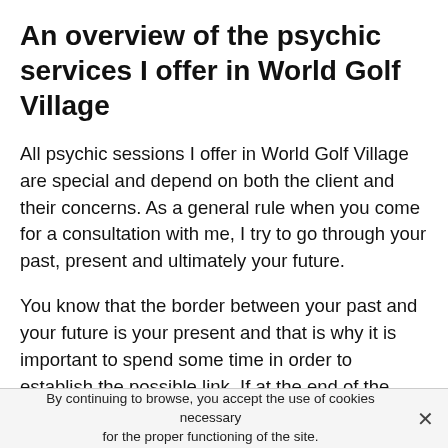An overview of the psychic services I offer in World Golf Village
All psychic sessions I offer in World Golf Village are special and depend on both the client and their concerns. As a general rule when you come for a consultation with me, I try to go through your past, present and ultimately your future.
You know that the border between your past and your future is your present and that is why it is important to spend some time in order to establish the possible link. If at the end of the consultation you do not feel convinced by my revelations or predictions, you can withdraw.
I would like to remind you that your first consultation is free and allows you to know if the psychic that I am really has
By continuing to browse, you accept the use of cookies necessary for the proper functioning of the site.